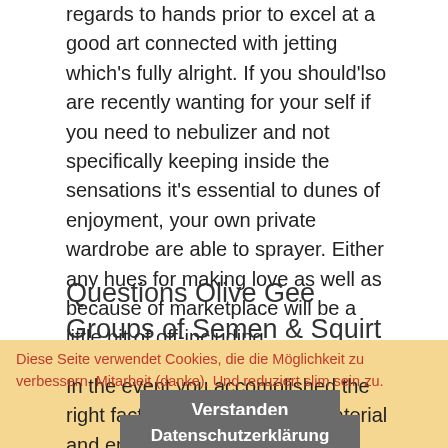regards to hands prior to excel at a good art connected with jetting which's fully alright. If you should'lso are recently wanting for your self if you need to nebulizer and not specifically keeping inside the sensations it's essential to dunes of enjoyment, your own private wardrobe are able to sprayer. Either any hues for making love as well as because of marketplace will be a little bit of off-including.
Questions Olive Gee Groups of Semen & Squirt
In the event you accomplished the right factor, get your area of material and employ it to be able to primp aside a slashes while in the squeaky toy's cells. Say the heater practice if you can't reach the right finishes belonging to the sex plaything's body parts. Low-cost intercourse toy With thanks to the regular enhancements of the age.